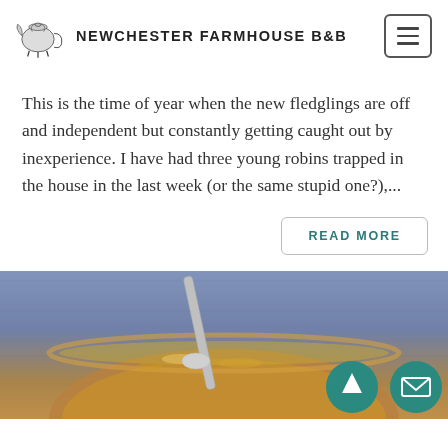NEWCHESTER FARMHOUSE B&B
This is the time of year when the new fledglings are off and independent but constantly getting caught out by inexperience. I have had three young robins trapped in the house in the last week (or the same stupid one?),...
READ MORE
[Figure (photo): Photo of a bowl of soup or porridge with a spoon, on a blue textured fabric background. Two teal circular FAB buttons (up arrow and envelope) are overlaid in the bottom right corner.]